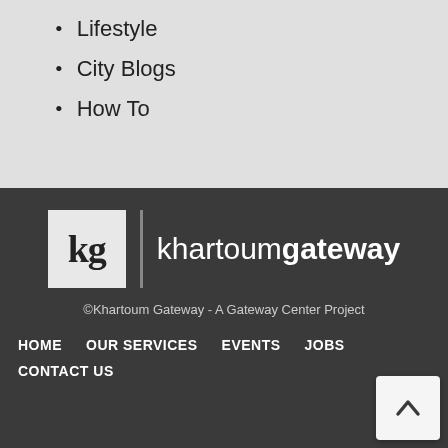Lifestyle
City Blogs
How To
[Figure (logo): Khartoum Gateway logo: 'kg' in a grey box beside the text 'khartoumgateway']
©Khartoum Gateway  -  A Gateway Center Project
HOME   OUR SERVICES   EVENTS   JOBS   CONTACT US